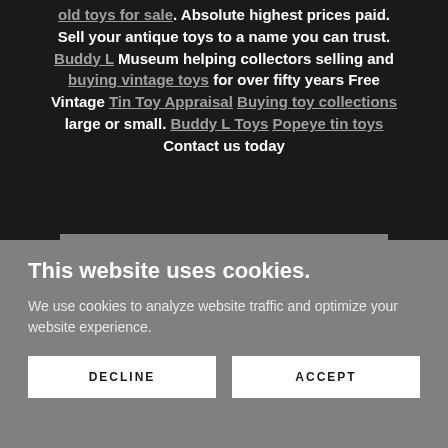old toys for sale. Absolute highest prices paid. Sell your antique toys to a name you can trust. Buddy L Museum helping collectors selling and buying vintage toys for over fifty years Free Vintage Tin Toy Appraisal Buying toy collections large or small. Buddy L Toys Popeye tin toys Contact us today
VINTAGE TIN TOYS PRICE GUIDE
This website uses cookies.
We use cookies to analyze website traffic and optimize your website experience.
DECLINE
ACCEPT